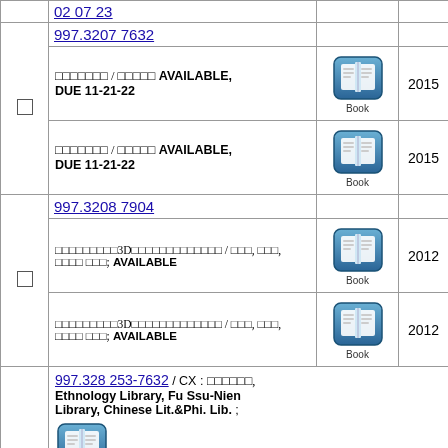|  | Call Number / Details | Type | Year |
| --- | --- | --- | --- |
|  | 997.3207 7632 |  |  |
| ☐ | □□□□□□□ / □□□□□ AVAILABLE, DUE 11-21-22 | Book | 2015 |
|  | □□□□□□□ / □□□□□ AVAILABLE, DUE 11-21-22 | Book | 2015 |
|  | 997.3208 7904 |  |  |
| ☐ | □□□□□□□□□3D□□□□□□□□□□□□□ / □□□, □□□, □□□□ □□□; AVAILABLE | Book | 2012 |
|  | □□□□□□□□□3D□□□□□□□□□□□□□ / □□□, □□□, □□□□ □□□; AVAILABLE | Book | 2012 |
| ☐ | 997.328 253-7632 / CX : □□□□□□, Ethnology Library, Fu Ssu-Nien Library, Chinese Lit.&Phi. Lib. ; Book |  |  |
|  | □□□□□□ : □□□□□□□□□□□□□□ / □□□□□□□ ; □□□□□□ AVAILABLE | Book | 2001 |